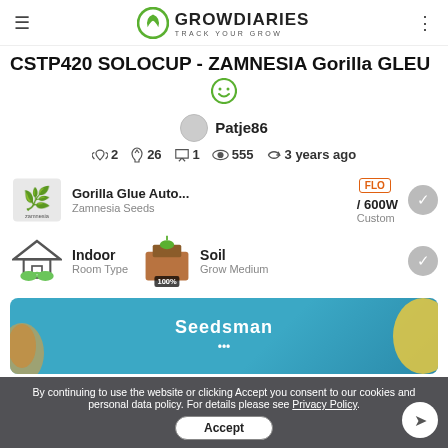GROWDIARIES - TRACK YOUR GROW
CSTP420 SOLOCUP - ZAMNESIA Gorilla GLEU
Patje86
2  26  1  555  3 years ago
Gorilla Glue Auto... / 600W FLO Custom Zamnesia Seeds
Indoor Room Type | Soil 100% Grow Medium
[Figure (screenshot): Seedsman advertisement banner with teal background]
By continuing to use the website or clicking Accept you consent to our cookies and personal data policy. For details please see Privacy Policy. Accept